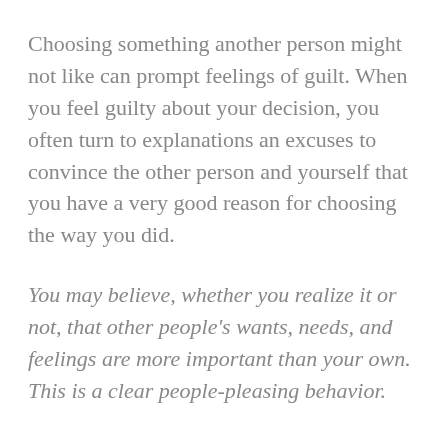Choosing something another person might not like can prompt feelings of guilt. When you feel guilty about your decision, you often turn to explanations an excuses to convince the other person and yourself that you have a very good reason for choosing the way you did.
You may believe, whether you realize it or not, that other people's wants, needs, and feelings are more important than your own. This is a clear people-pleasing behavior.